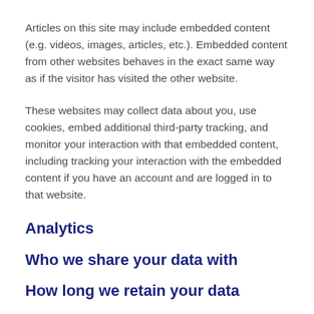Articles on this site may include embedded content (e.g. videos, images, articles, etc.). Embedded content from other websites behaves in the exact same way as if the visitor has visited the other website.
These websites may collect data about you, use cookies, embed additional third-party tracking, and monitor your interaction with that embedded content, including tracking your interaction with the embedded content if you have an account and are logged in to that website.
Analytics
Who we share your data with
How long we retain your data